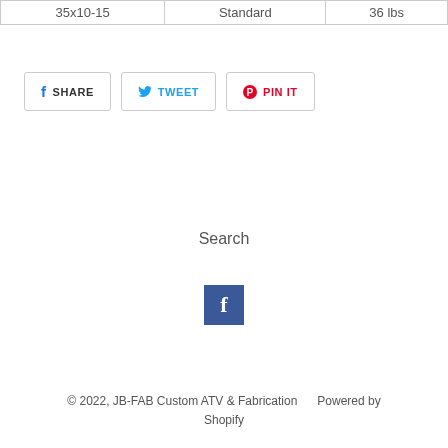| 35x10-15 | Standard | 36 lbs |
[Figure (screenshot): Social sharing buttons: SHARE (Facebook), TWEET (Twitter), PIN IT (Pinterest)]
Search
[Figure (logo): Facebook logo icon - dark square with white F]
© 2022, JB-FAB Custom ATV & Fabrication    Powered by Shopify